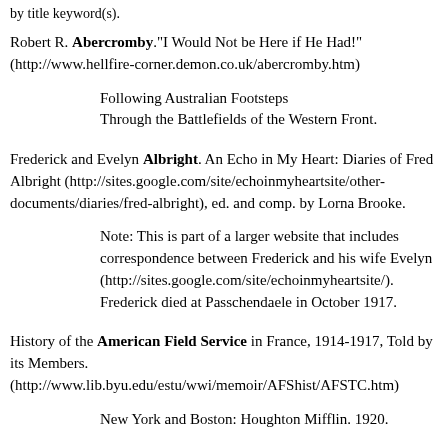by title keyword(s).
Robert R. Abercromby."I Would Not be Here if He Had!" (http://www.hellfire-corner.demon.co.uk/abercromby.htm)
Following Australian Footsteps
Through the Battlefields of the Western Front.
Frederick and Evelyn Albright. An Echo in My Heart: Diaries of Fred Albright (http://sites.google.com/site/echoinmyheartsite/other-documents/diaries/fred-albright), ed. and comp. by Lorna Brooke.
Note: This is part of a larger website that includes correspondence between Frederick and his wife Evelyn (http://sites.google.com/site/echoinmyheartsite/). Frederick died at Passchendaele in October 1917.
History of the American Field Service in France, 1914-1917, Told by its Members.
(http://www.lib.byu.edu/estu/wwi/memoir/AFShist/AFSTC.htm)
New York and Boston: Houghton Mifflin. 1920.